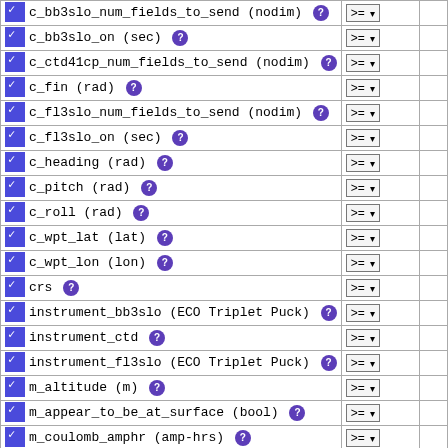| Variable | Operator | Value |
| --- | --- | --- |
| c_bb3slo_num_fields_to_send (nodim) ? | >= v |  |
| c_bb3slo_on (sec) ? | >= v |  |
| c_ctd41cp_num_fields_to_send (nodim) ? | >= v |  |
| c_fin (rad) ? | >= v |  |
| c_fl3slo_num_fields_to_send (nodim) ? | >= v |  |
| c_fl3slo_on (sec) ? | >= v |  |
| c_heading (rad) ? | >= v |  |
| c_pitch (rad) ? | >= v |  |
| c_roll (rad) ? | >= v |  |
| c_wpt_lat (lat) ? | >= v |  |
| c_wpt_lon (lon) ? | >= v |  |
| crs ? | >= v |  |
| instrument_bb3slo (ECO Triplet Puck) ? | >= v |  |
| instrument_ctd ? | >= v |  |
| instrument_fl3slo (ECO Triplet Puck) ? | >= v |  |
| m_altitude (m) ? | >= v |  |
| m_appear_to_be_at_surface (bool) ? | >= v |  |
| m_coulomb_amphr (amp-hrs) ? | >= v |  |
| m_depth (Depth, m) ? | >= v |  |
| m_fin (rad) ? | >= v |  |
| m_final_water_vx (m s-1) ? | >= v |  |
| m_final_water_vy (m s-1) ? | >= v |  |
| m_gps_full_status (enum) ? | >= v |  |
| m_gps_lat (degrees_minutes_north) ? | >= v |  |